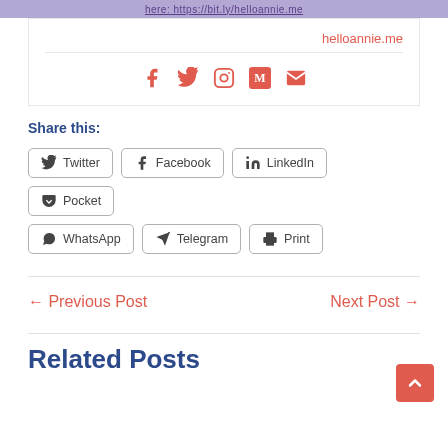here: https://bit.ly/helloannie.me
helloannie.me
[Figure (infographic): Social media icons: Facebook, Twitter, Instagram, Medium, Email (envelope)]
Share this:
Twitter
Facebook
LinkedIn
Pocket
WhatsApp
Telegram
Print
← Previous Post
Next Post →
Related Posts